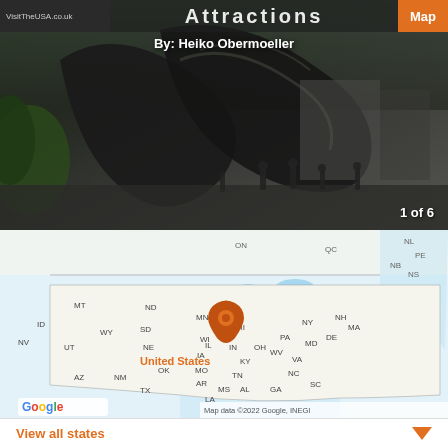VisitTheUSA.co.uk  Attractions  Map
By: Heiko Obermoeller
[Figure (photo): Curved metallic sculpture (Cloud Gate / The Bean) in Chicago with people walking underneath, dark atmospheric photo]
1 of 6
[Figure (map): Google Maps showing United States with state abbreviations and an orange location pin near Chicago/Illinois area. Map data ©2022 Google, INEGI]
View all states